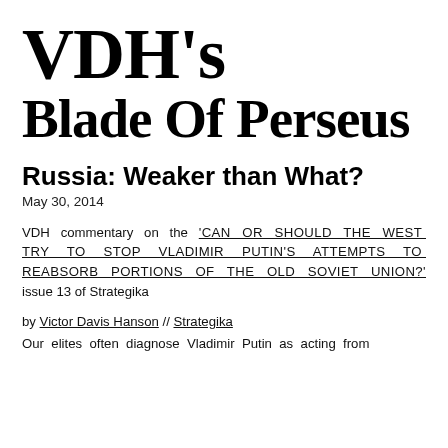VDH's Blade Of Perseus
Russia: Weaker than What?
May 30, 2014
VDH commentary on the 'CAN OR SHOULD THE WEST TRY TO STOP VLADIMIR PUTIN'S ATTEMPTS TO REABSORB PORTIONS OF THE OLD SOVIET UNION?' issue 13 of Strategika
by Victor Davis Hanson // Strategika
Our elites often diagnose Vladimir Putin as acting from